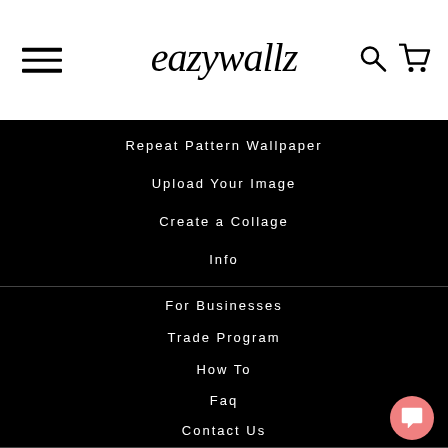eazywallz
Repeat Pattern Wallpaper
Upload Your Image
Create a Collage
Info
For Businesses
Trade Program
How To
Faq
Contact Us
Blog
1.877.631.3299